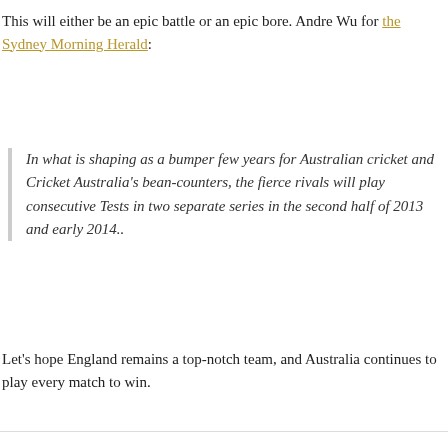This will either be an epic battle or an epic bore. Andre Wu for the Sydney Morning Herald:
In what is shaping as a bumper few years for Australian cricket and Cricket Australia's bean-counters, the fierce rivals will play consecutive Tests in two separate series in the second half of 2013 and early 2014..
Let's hope England remains a top-notch team, and Australia continues to play every match to win.
Leave a comment